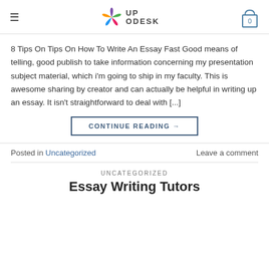UP ODESK
8 Tips On Tips On How To Write An Essay Fast Good means of telling, good publish to take information concerning my presentation subject material, which i’m going to ship in my faculty. This is awesome sharing by creator and can actually be helpful in writing up an essay. It isn’t straightforward to deal with [...]
CONTINUE READING →
Posted in Uncategorized   Leave a comment
UNCATEGORIZED
Essay Writing Tutors